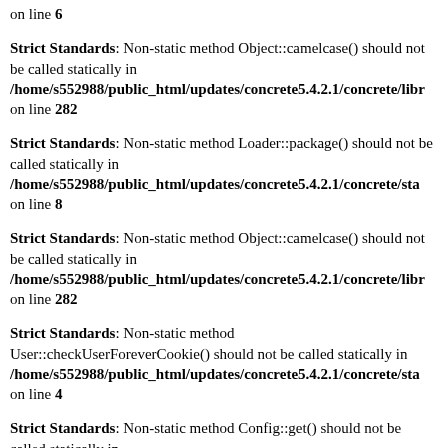on line 6
Strict Standards: Non-static method Object::camelcase() should not be called statically in /home/s552988/public_html/updates/concrete5.4.2.1/concrete/lib... on line 282
Strict Standards: Non-static method Loader::package() should not be called statically in /home/s552988/public_html/updates/concrete5.4.2.1/concrete/sta... on line 8
Strict Standards: Non-static method Object::camelcase() should not be called statically in /home/s552988/public_html/updates/concrete5.4.2.1/concrete/lib... on line 282
Strict Standards: Non-static method User::checkUserForeverCookie() should not be called statically in /home/s552988/public_html/updates/concrete5.4.2.1/concrete/sta... on line 4
Strict Standards: Non-static method Config::get() should not be called statically in /home/s552988/public_html/updates/concrete5.4.2.1/concrete/sta... on line 5